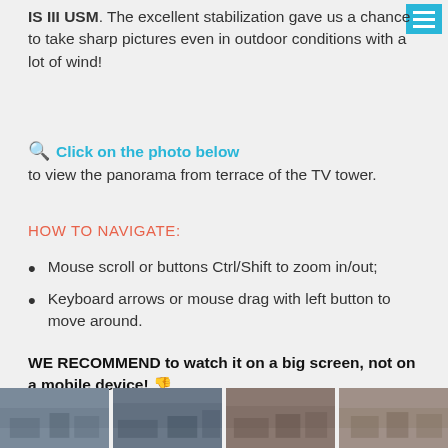IS III USM. The excellent stabilization gave us a chance to take sharp pictures even in outdoor conditions with a lot of wind!
Click on the photo below to view the panorama from terrace of the TV tower.
HOW TO NAVIGATE:
Mouse scroll or buttons Ctrl/Shift to zoom in/out;
Keyboard arrows or mouse drag with left button to move around.
WE RECOMMEND to watch it on a big screen, not on a mobile device!
[Figure (photo): Four thumbnail photos showing aerial/panoramic city views from a TV tower terrace]